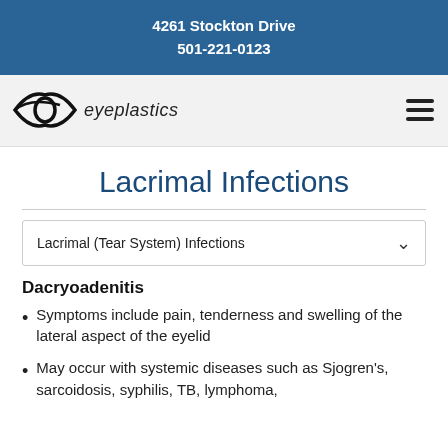4261 Stockton Drive
501-221-0123
[Figure (logo): Eyeplastics logo with stylized eye graphic and italic text 'eyeplastics']
Lacrimal Infections
Lacrimal (Tear System) Infections
Dacryoadenitis
Symptoms include pain, tenderness and swelling of the lateral aspect of the eyelid
May occur with systemic diseases such as Sjogren's, sarcoidosis, syphilis, TB, lymphoma,